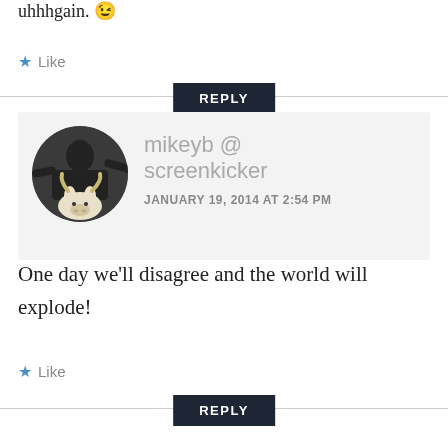uhhhgain. 😉
★ Like
REPLY
mikeyb @ screenkicker
JANUARY 19, 2014 AT 2:54 PM
One day we'll disagree and the world will explode!
★ Like
REPLY